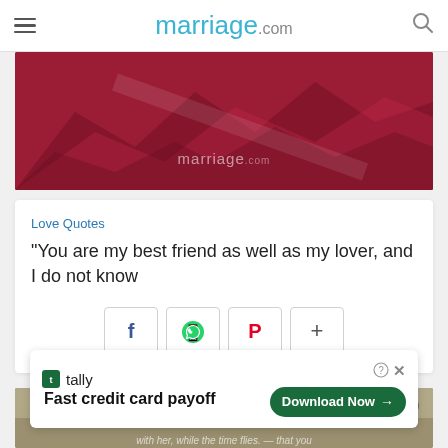marriage.com
[Figure (photo): Red-tinted mountain landscape hero image with marriage.com watermark]
Love Quotes
“You are my best friend as well as my lover, and I do not know
[Figure (infographic): Social share buttons: Facebook, WhatsApp, Pinterest, More (+)]
[Figure (photo): Sepia-toned outdoor landscape, partially visible]
[Figure (screenshot): Tally app advertisement banner: Fast credit card payoff, Download Now button]